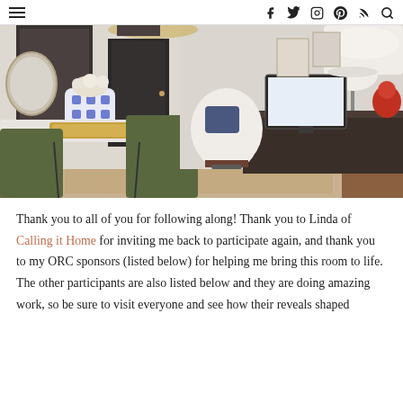≡  f  twitter  instagram  pinterest  rss  search
[Figure (photo): Interior room photo showing a dining/home office space with a marble-top table, green velvet chairs, a white swivel desk chair, dark wood desk with a computer monitor, patterned area rug, round mirror, blue and white ceramic vase with flowers, and artwork on walls.]
Thank you to all of you for following along! Thank you to Linda of Calling it Home for inviting me back to participate again, and thank you to my ORC sponsors (listed below) for helping me bring this room to life. The other participants are also listed below and they are doing amazing work, so be sure to visit everyone and see how their reveals shaped